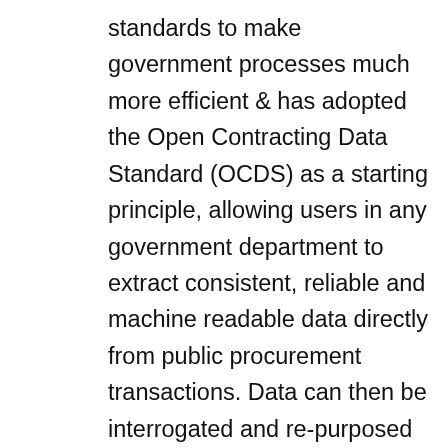standards to make government processes much more efficient & has adopted the Open Contracting Data Standard (OCDS) as a starting principle, allowing users in any government department to extract consistent, reliable and machine readable data directly from public procurement transactions. Data can then be interrogated and re-purposed by other government departments, businesses and civil society. Officials managing and auditing the procurement system can perform tasks in minutes that take their peers in other economies several days.